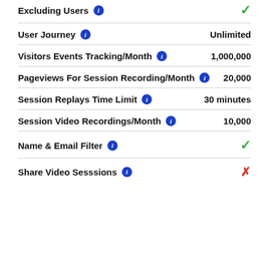Excluding Users ℹ ✓
User Journey ℹ Unlimited
Visitors Events Tracking/Month ℹ 1,000,000
Pageviews For Session Recording/Month ℹ 20,000
Session Replays Time Limit ℹ 30 minutes
Session Video Recordings/Month ℹ 10,000
Name & Email Filter ℹ ✓
Share Video Sesssions ℹ ✗